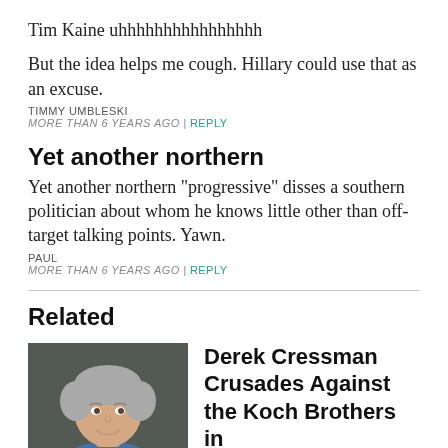Tim Kaine uhhhhhhhhhhhhhhhh
But the idea helps me cough. Hillary could use that as an excuse.
TIMMY UMBLESKI
MORE THAN 6 YEARS AGO | REPLY
Yet another northern
Yet another northern "progressive" disses a southern politician about whom he knows little other than off-target talking points. Yawn.
PAUL
MORE THAN 6 YEARS AGO | REPLY
Related
[Figure (photo): Headshot of a middle-aged man with grey hair, smiling, wearing a blue shirt]
Derek Cressman Crusades Against the Koch Brothers in